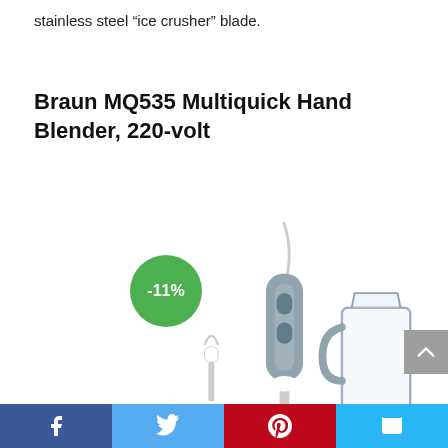stainless steel “ice crusher” blade.
Braun MQ535 Multiquick Hand Blender, 220-volt
[Figure (photo): Braun MQ535 Multiquick Hand Blender product photo showing the hand blender unit, whisk attachment, and measuring cup, with a green -11% discount badge overlaid]
Facebook | Twitter | Pinterest | Email social sharing bar